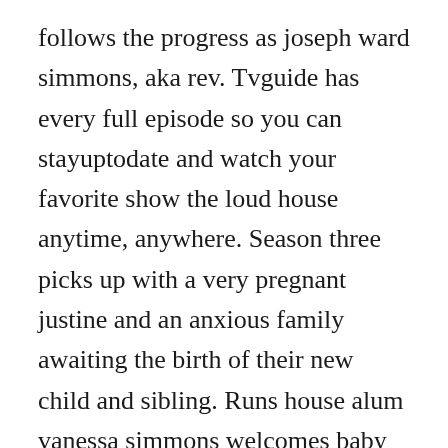follows the progress as joseph ward simmons, aka rev. Tvguide has every full episode so you can stayuptodate and watch your favorite show the loud house anytime, anywhere. Season three picks up with a very pregnant justine and an anxious family awaiting the birth of their new child and sibling. Runs house alum vanessa simmons welcomes baby girl feb 18, 2014 5. Watch house episodes online season 1 2005 tv guide. A teenage boy is struck on the head in a lacrosse game and is found to have hallucinations and night terrors that are not due to concussion. While out